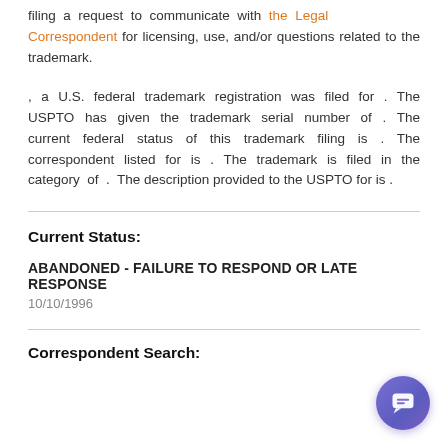filing a request to communicate with the Legal Correspondent for licensing, use, and/or questions related to the trademark.
, a U.S. federal trademark registration was filed for . The USPTO has given the trademark serial number of . The current federal status of this trademark filing is . The correspondent listed for is . The trademark is filed in the category of . The description provided to the USPTO for is .
Current Status:
ABANDONED - FAILURE TO RESPOND OR LATE RESPONSE
10/10/1996
Correspondent Search: